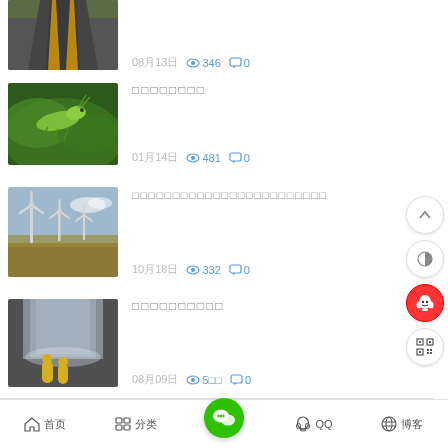08月13日 346 views 0 comments
□□□□□□□□ 01月14日 481 views 0 comments
□□□□□□□□□□□□□□□□□□□□□□□□ 10月18日 332 views 0 comments
□□□□□□□□□□ 08月09日 5□□ views 0 comments
首页  分类  QQ  博客